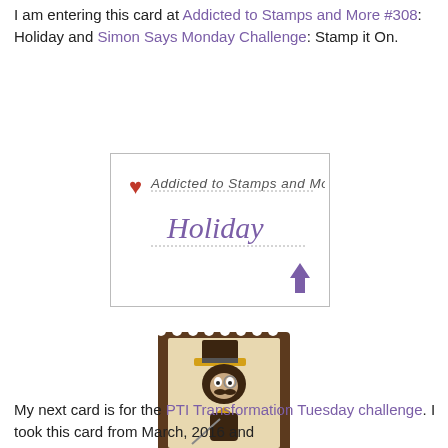I am entering this card at Addicted to Stamps and More #308: Holiday and Simon Says Monday Challenge: Stamp it On.
[Figure (logo): Addicted to Stamps and More Holiday badge - rectangular bordered image with red heart, dotted text 'Addicted to Stamps and More', purple 'Holiday' text, and purple arrow]
[Figure (logo): Simon Says Stamp Monday Challenge Blog badge - postage stamp shaped brown frame with cartoon dog in top hat illustration, gold banner with 'SimonSaysStamp.com Monday Challenge BLOG' text]
My next card is for the PTI Transformation Tuesday challenge. I took this card from March, 2016 and